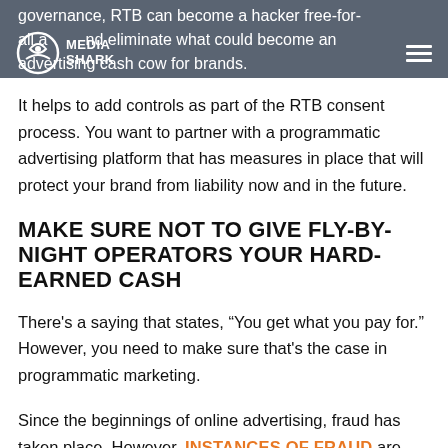Media Shark
governance, RTB can become a hacker free-for-all and eliminate what could become an advertising cash cow for brands.
It helps to add controls as part of the RTB consent process. You want to partner with a programmatic advertising platform that has measures in place that will protect your brand from liability now and in the future.
MAKE SURE NOT TO GIVE FLY-BY-NIGHT OPERATORS YOUR HARD-EARNED CASH
There’s a saying that states, “You get what you pay for.” However, you need to make sure that’s the case in programmatic marketing.
Since the beginnings of online advertising, fraud has taken place. However, INSTANCES OF FRAUD are